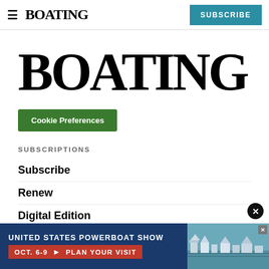BOATING | SUBSCRIBE
BOATING
Cookie Preferences
SUBSCRIPTIONS
Subscribe
Renew
Digital Edition
Customer Service
[Figure (screenshot): Advertisement banner for United States Powerboat Show, Oct. 6-9, Plan Your Visit, with image of boats in marina on the right and a circular X close button]